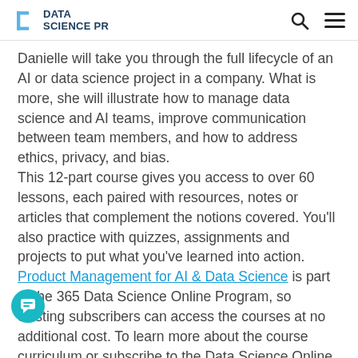DATA SCIENCE PR
Danielle will take you through the full lifecycle of an AI or data science project in a company. What is more, she will illustrate how to manage data science and AI teams, improve communication between team members, and how to address ethics, privacy, and bias.
This 12-part course gives you access to over 60 lessons, each paired with resources, notes or articles that complement the notions covered. You'll also practice with quizzes, assignments and projects to put what you've learned into action.
Product Management for AI & Data Science is part of the 365 Data Science Online Program, so existing subscribers can access the courses at no additional cost. To learn more about the course curriculum or subscribe to the Data Science Online Program...